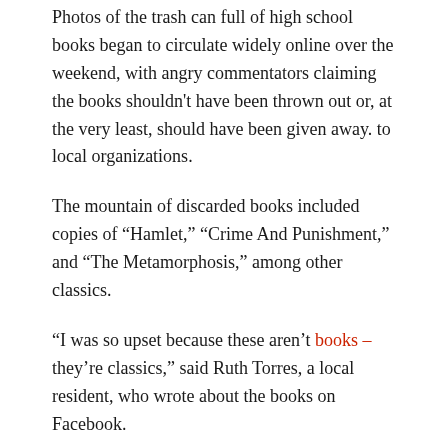Photos of the trash can full of high school books began to circulate widely online over the weekend, with angry commentators claiming the books shouldn't have been thrown out or, at the very least, should have been given away. to local organizations.
The mountain of discarded books included copies of “Hamlet,” “Crime And Punishment,” and “The Metamorphosis,” among other classics.
“I was so upset because these aren’t books – they’re classics,” said Ruth Torres, a local resident, who wrote about the books on Facebook.
“They had Edgar Allan Poe, Shakespeare, Dostoyevsky, they had so many. And it was like, Wow, these are books that I grew up reading that changed my life and my perspective. I was like, why would they get rid of it that way? There are so many different ways to distribute books that are not in use.
In response to the messages, several neighbors rescued books from the dumpster – and the rain – over the weekend, Torres said. A local scout troop supervised by Torres plans to stock small libraries with some of the recovered books.